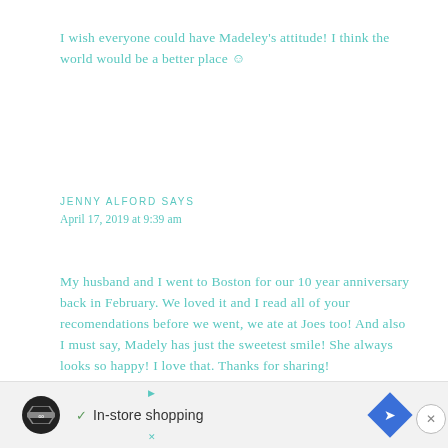I wish everyone could have Madeley's attitude! I think the world would be a better place ☺
JENNY ALFORD SAYS
April 17, 2019 at 9:39 am
My husband and I went to Boston for our 10 year anniversary back in February. We loved it and I read all of your recomendations before we went, we ate at Joes too! And also I must say, Madely has just the sweetest smile! She always looks so happy! I love that. Thanks for sharing!
[Figure (screenshot): Advertisement banner at bottom of page showing in-store shopping ad with circular logo, checkmark, text 'In-store shopping', blue diamond icon, and close button]